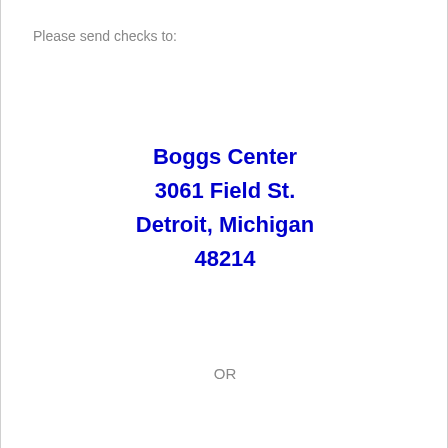Please send checks to:
Boggs Center
3061 Field St.
Detroit, Michigan
48214
OR